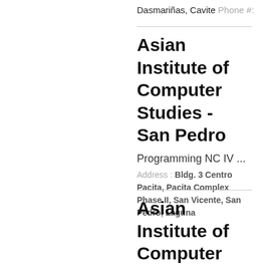Dasmariñas, Cavite Phone #:
Asian Institute of Computer Studies - San Pedro
Programming NC IV ...
Address : Bldg. 3 Centro Pacita, Pacita Complex Phase II, San Vicente, San Pedro, Laguna
Asian Institute of Computer Studies - Tanay